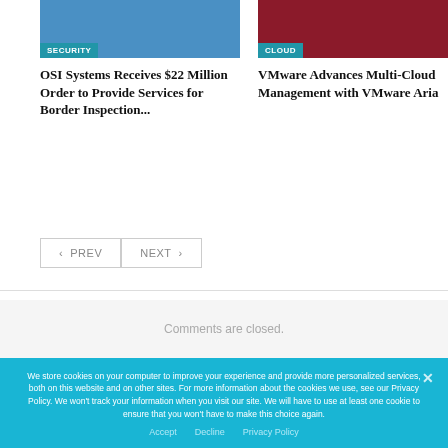[Figure (photo): Security themed photo with blue tones showing person with digital interface]
SECURITY
OSI Systems Receives $22 Million Order to Provide Services for Border Inspection...
[Figure (photo): Cloud themed photo with red/dark tones showing digital network interface]
CLOUD
VMware Advances Multi-Cloud Management with VMware Aria
PREV
NEXT
Comments are closed.
We store cookies on your computer to improve your experience and provide more personalized services, both on this website and on other sites. For more information about the cookies we use, see our Privacy Policy. We won't track your information when you visit our site. We will have to use at least one cookie to ensure that you won't have to make this choice again.
Accept   Decline   Privacy Policy